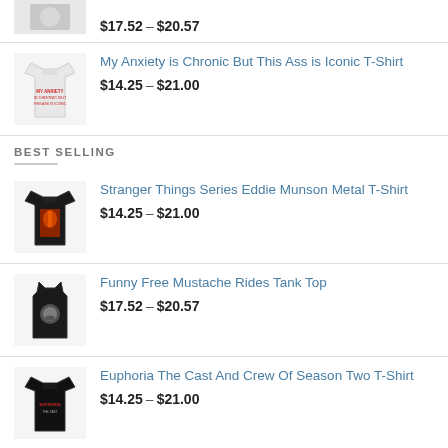$17.52 – $20.57
My Anxiety is Chronic But This Ass is Iconic T-Shirt
$14.25 – $21.00
BEST SELLING
Stranger Things Series Eddie Munson Metal T-Shirt
$14.25 – $21.00
Funny Free Mustache Rides Tank Top
$17.52 – $20.57
Euphoria The Cast And Crew Of Season Two T-Shirt
$14.25 – $21.00